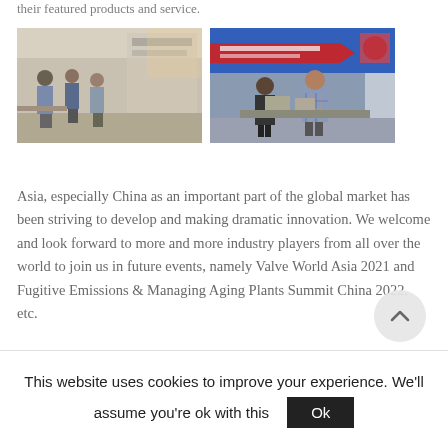their featured products and service.
[Figure (photo): Two photos side by side showing an industry expo/exhibition. Left photo shows attendees walking around booths at an indoor exhibition. Right photo shows two people examining products at a trade show booth with a banner in the background.]
Asia, especially China as an important part of the global market has been striving to develop and making dramatic innovation. We welcome and look forward to more and more industry players from all over the world to join us in future events, namely Valve World Asia 2021 and Fugitive Emissions & Managing Aging Plants Summit China 2022, etc.
This website uses cookies to improve your experience. We'll assume you're ok with this  Ok